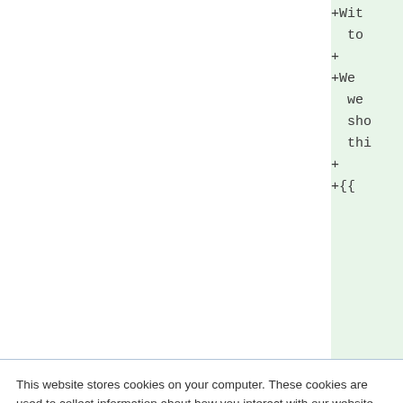[Figure (screenshot): Code editor snippet showing green-highlighted diff lines with '+Wit to', '+', '+We we sho thi', '+', '+{{' on the right side of the screen]
This website stores cookies on your computer. These cookies are used to collect information about how you interact with our website and allow us to remember you. We use this information in order to improve and customize your browsing experience and for analytics and metrics about our visitors both on this website and other media. To find out more about the cookies we use, see our Privacy Policy
If you decline, your information won't be tracked when you visit this website. A single cookie will be used in your browser to remember your preference not to be tracked.
Cookies settings
Accept All
Decline All